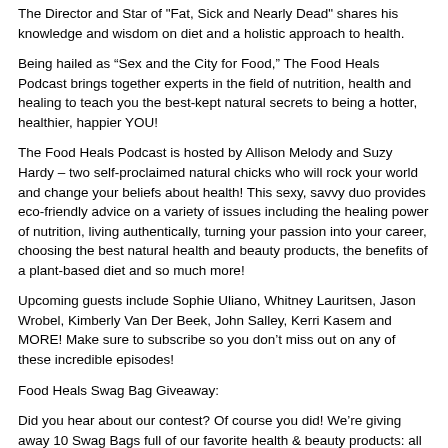The Director and Star of "Fat, Sick and Nearly Dead" shares his knowledge and wisdom on diet and a holistic approach to health.
Being hailed as “Sex and the City for Food,” The Food Heals Podcast brings together experts in the field of nutrition, health and healing to teach you the best-kept natural secrets to being a hotter, healthier, happier YOU!
The Food Heals Podcast is hosted by Allison Melody and Suzy Hardy – two self-proclaimed natural chicks who will rock your world and change your beliefs about health! This sexy, savvy duo provides eco-friendly advice on a variety of issues including the healing power of nutrition, living authentically, turning your passion into your career, choosing the best natural health and beauty products, the benefits of a plant-based diet and so much more!
Upcoming guests include Sophie Uliano, Whitney Lauritsen, Jason Wrobel, Kimberly Van Der Beek, John Salley, Kerri Kasem and MORE! Make sure to subscribe so you don’t miss out on any of these incredible episodes!
Food Heals Swag Bag Giveaway:
Did you hear about our contest? Of course you did! We’re giving away 10 Swag Bags full of our favorite health & beauty products: all organic, all vegan, and all healthy. Would you expect anything less? Each bag has over $300 worth of awesomeness. To enter, subscribe, rate, and review the Food Heals Podcast on iTunes. Then, send us a screenshot of your accomplishment to info@foodhealsnation.com; or, tweet us; or post to our Facebook page. And